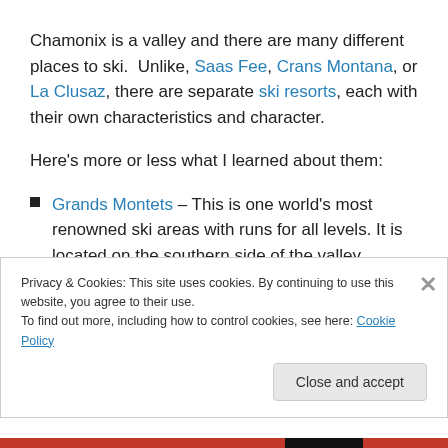Chamonix is a valley and there are many different places to ski.  Unlike, Saas Fee, Crans Montana, or La Clusaz, there are separate ski resorts, each with their own characteristics and character.
Here's more or less what I learned about them:
Grands Montets – This is one world's most renowned ski areas with runs for all levels. It is located on the southern side of the valley (translate that into it's not
Privacy & Cookies: This site uses cookies. By continuing to use this website, you agree to their use.
To find out more, including how to control cookies, see here: Cookie Policy
Close and accept